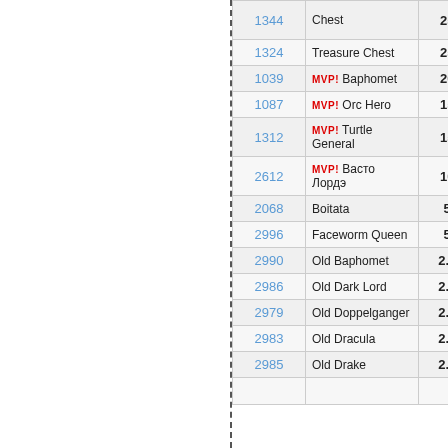| ID | Name | Drop% |
| --- | --- | --- |
| 1344 | Chest | 25% |
| 1324 | Treasure Chest | 25% |
| 1039 | MVP! Baphomet | 20% |
| 1087 | MVP! Orc Hero | 15% |
| 1312 | MVP! Turtle General | 15% |
| 2612 | MVP! Васто Лордэ | 10% |
| 2068 | Boitata | 5% |
| 2996 | Faceworm Queen | 5% |
| 2990 | Old Baphomet | 2.5% |
| 2986 | Old Dark Lord | 2.5% |
| 2979 | Old Doppelganger | 2.5% |
| 2983 | Old Dracula | 2.5% |
| 2985 | Old Drake | 2.5% |